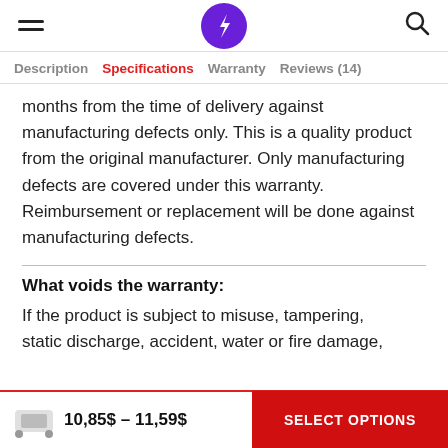Header with hamburger menu, lightning bolt logo, and search icon
Description | Specifications | Warranty | Reviews (14)
months from the time of delivery against manufacturing defects only. This is a quality product from the original manufacturer. Only manufacturing defects are covered under this warranty. Reimbursement or replacement will be done against manufacturing defects.
What voids the warranty:
If the product is subject to misuse, tampering, static discharge, accident, water or fire damage,
10,85$ – 11,59$   SELECT OPTIONS